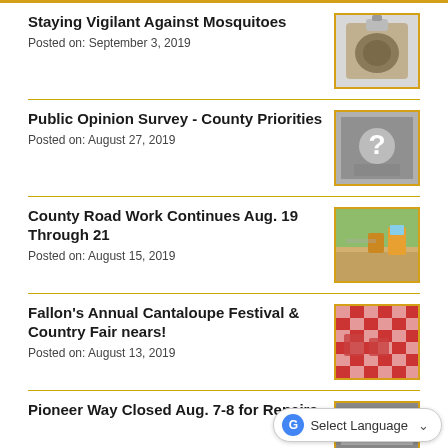Staying Vigilant Against Mosquitoes
Posted on: September 3, 2019
[Figure (photo): Close-up photo of a bowl or container with mosquito-related content]
Public Opinion Survey - County Priorities
Posted on: August 27, 2019
[Figure (photo): Black and white photo of a person holding a question mark sign]
County Road Work Continues Aug. 19 Through 21
Posted on: August 15, 2019
[Figure (photo): Photo of road construction with trucks on a dirt road]
Fallon's Annual Cantaloupe Festival & Country Fair nears!
Posted on: August 13, 2019
[Figure (photo): Photo of checkered tablecloths at a fair or festival setting]
Pioneer Way Closed Aug. 7-8 for Repairs